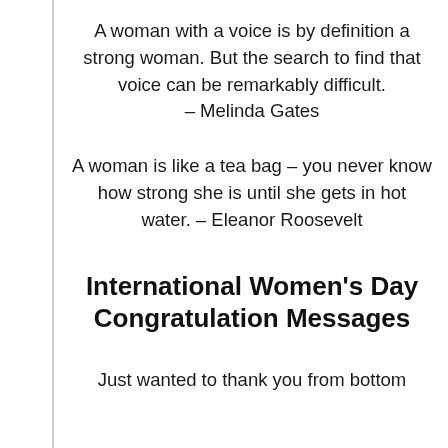A woman with a voice is by definition a strong woman. But the search to find that voice can be remarkably difficult. – Melinda Gates
A woman is like a tea bag – you never know how strong she is until she gets in hot water. – Eleanor Roosevelt
International Women's Day Congratulation Messages
Just wanted to thank you from bottom